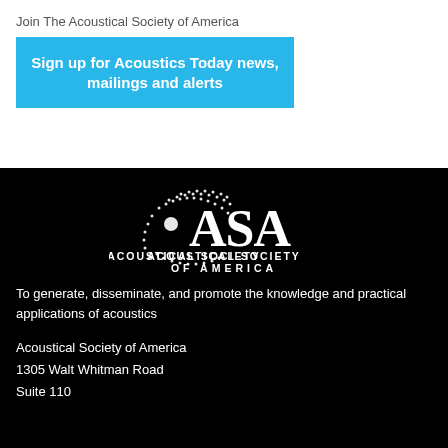Join The Acoustical Society of America
Sign up for Acoustics Today news, mailings and alerts
[Figure (logo): ASA Acoustical Society of America logo — white text and dot-arc graphic on black background]
To generate, disseminate, and promote the knowledge and practical applications of acoustics
Acoustical Society of America
1305 Walt Whitman Road
Suite 110